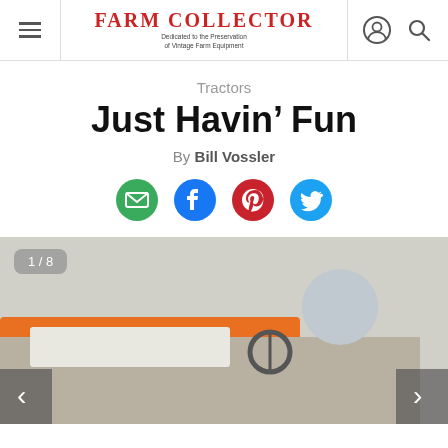Farm Collector — Dedicated to the Preservation of Vintage Farm Equipment
Tractors
Just Havin' Fun
By Bill Vossler
[Figure (other): Social share icons: email (green), Facebook (blue), Pinterest (red), Twitter (blue)]
[Figure (photo): Photo of an older man in a plaid shirt sitting on a vintage tractor, image counter shows 1/8, with left and right navigation arrows]